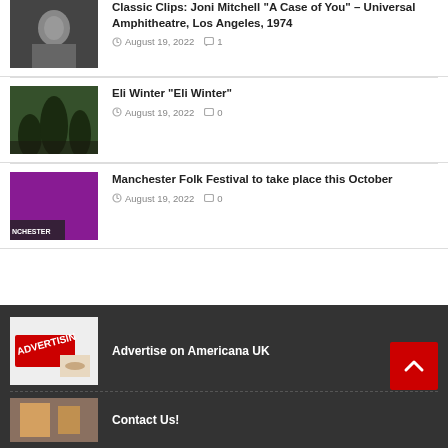Classic Clips: Joni Mitchell "A Case of You" – Universal Amphitheatre, Los Angeles, 1974
August 19, 2022  1
Eli Winter "Eli Winter"
August 19, 2022  0
Manchester Folk Festival to take place this October
August 19, 2022  0
Advertise on Americana UK
Contact Us!